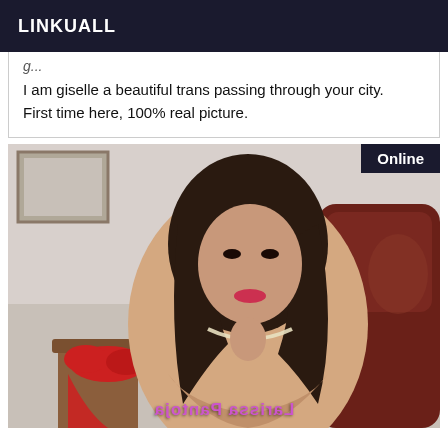LINKUALL
I am giselle a beautiful trans passing through your city. First time here, 100% real picture.
[Figure (photo): Photo of a woman seated near a wooden table and leather chair, with a red bra visible on the table. An 'Online' badge appears in the top-right corner. A mirrored watermark text 'Larissa Pantoja' appears at the bottom.]